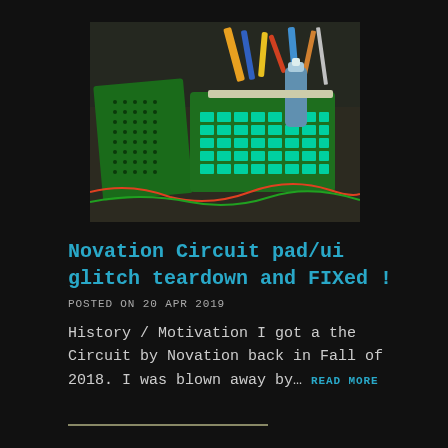[Figure (photo): Photo of electronics workbench with green PCB circuit boards, keyboard matrix, spray can, and electronic components spread on a work surface. Possibly a Novation Circuit synthesizer teardown.]
Novation Circuit pad/ui glitch teardown and FIXed !
POSTED ON 20 APR 2019
History / Motivation I got a the Circuit by Novation back in Fall of 2018. I was blown away by… READ MORE